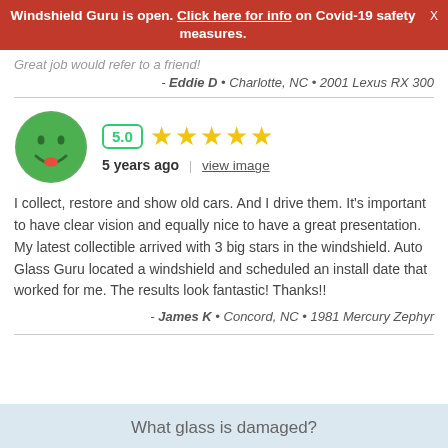Windshield Guru is open. Click here for info on Covid-19 safety measures.
Great job would refer to a friend!
- Eddie D • Charlotte, NC • 2001 Lexus RX 300
[Figure (illustration): Green smiley face avatar with 5.0 star rating badge showing 5 yellow stars, posted 5 years ago with a view image link]
I collect, restore and show old cars. And I drive them. It's important to have clear vision and equally nice to have a great presentation. My latest collectible arrived with 3 big stars in the windshield. Auto Glass Guru located a windshield and scheduled an install date that worked for me. The results look fantastic! Thanks!!
- James K • Concord, NC • 1981 Mercury Zephyr
What glass is damaged?